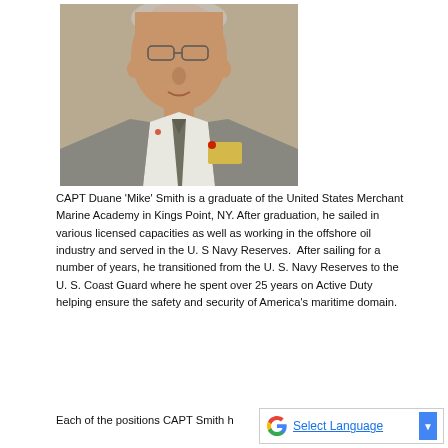[Figure (photo): Headshot of CAPT Duane 'Mike' Smith wearing a gray suit jacket, patterned tie, and a name badge. The photo is cropped to show the head and upper torso against a neutral background.]
CAPT Duane 'Mike' Smith is a graduate of the United States Merchant Marine Academy in Kings Point, NY. After graduation, he sailed in various licensed capacities as well as working in the offshore oil industry and served in the U. S Navy Reserves.  After sailing for a number of years, he transitioned from the U. S. Navy Reserves to the U. S. Coast Guard where he spent over 25 years on Active Duty helping ensure the safety and security of America's maritime domain.
Each of the positions CAPT Smith h